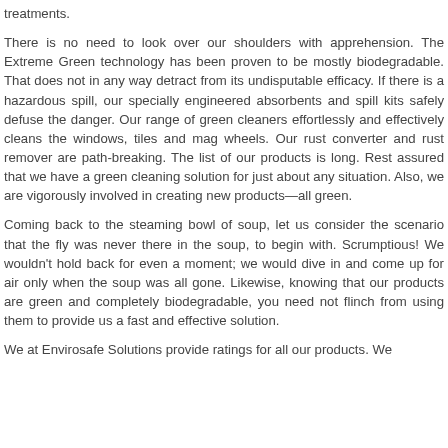treatments.
There is no need to look over our shoulders with apprehension. The Extreme Green technology has been proven to be mostly biodegradable. That does not in any way detract from its undisputable efficacy. If there is a hazardous spill, our specially engineered absorbents and spill kits safely defuse the danger. Our range of green cleaners effortlessly and effectively cleans the windows, tiles and mag wheels. Our rust converter and rust remover are path-breaking. The list of our products is long. Rest assured that we have a green cleaning solution for just about any situation. Also, we are vigorously involved in creating new products—all green.
Coming back to the steaming bowl of soup, let us consider the scenario that the fly was never there in the soup, to begin with. Scrumptious! We wouldn't hold back for even a moment; we would dive in and come up for air only when the soup was all gone. Likewise, knowing that our products are green and completely biodegradable, you need not flinch from using them to provide us a fast and effective solution.
We at Envirosafe Solutions provide ratings for all our products. We